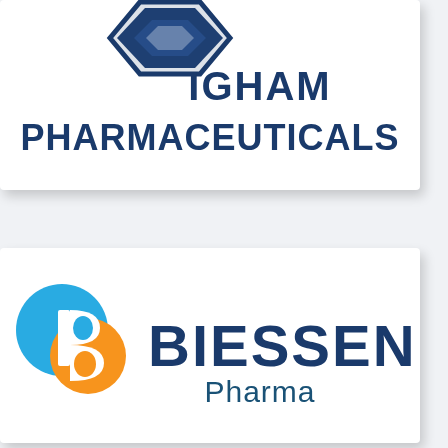[Figure (logo): Partial view of a pharmaceutical company logo: a dark navy blue hexagonal/geometric shape at top, with the text PHARMACEUTICALS in large bold dark navy letters below it. The left portion of the company name above is cut off.]
[Figure (logo): Biessen Pharma logo: two overlapping circles (cyan/blue on top-left, orange on bottom-right) forming a B-like icon, followed by BIESSEN in large bold dark navy text and Pharma in smaller dark teal text below.]